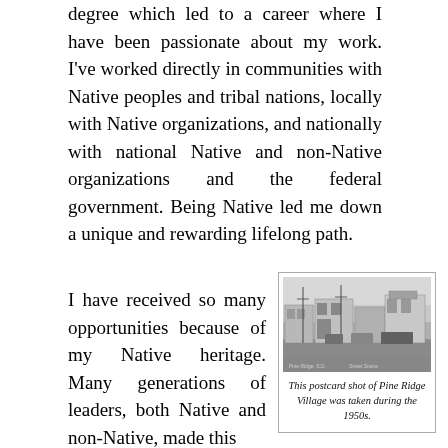degree which led to a career where I have been passionate about my work. I've worked directly in communities with Native peoples and tribal nations, locally with Native organizations, and nationally with national Native and non-Native organizations and the federal government. Being Native led me down a unique and rewarding lifelong path.
I have received so many opportunities because of my Native heritage. Many generations of leaders, both Native and non-Native, made this
[Figure (photo): Black and white postcard photograph of Pine Ridge Village street scene, taken during the 1950s, showing buildings and vehicles along a main street.]
This postcard shot of Pine Ridge Village was taken during the 1950s.